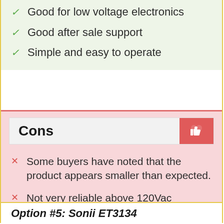Good for low voltage electronics
Good after sale support
Simple and easy to operate
Cons
Some buyers have noted that the product appears smaller than expected.
Not very reliable above 120Vac
Option #5: Sonii ET3134